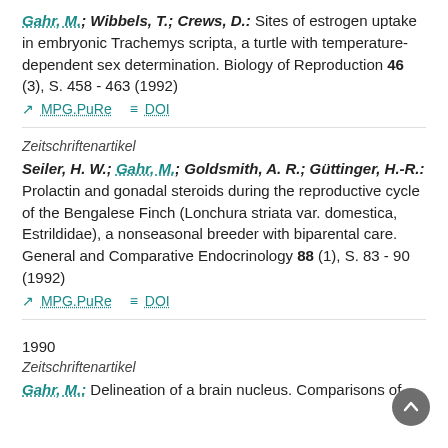Gahr, M.; Wibbels, T.; Crews, D.: Sites of estrogen uptake in embryonic Trachemys scripta, a turtle with temperature-dependent sex determination. Biology of Reproduction 46 (3), S. 458 - 463 (1992)
MPG.PuRe   DOI
Zeitschriftenartikel
Seiler, H. W.; Gahr, M.; Goldsmith, A. R.; Güttinger, H.-R.: Prolactin and gonadal steroids during the reproductive cycle of the Bengalese Finch (Lonchura striata var. domestica, Estrildidae), a nonseasonal breeder with biparental care. General and Comparative Endocrinology 88 (1), S. 83 - 90 (1992)
MPG.PuRe   DOI
1990
Zeitschriftenartikel
Gahr, M.: Delineation of a brain nucleus. Comparisons of...